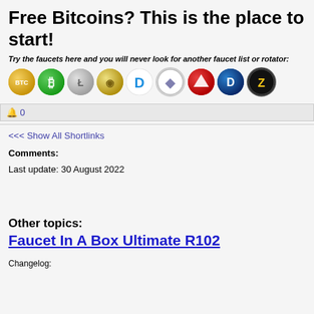Free Bitcoins? This is the place to start!
Try the faucets here and you will never look for another faucet list or rotator:
[Figure (illustration): Row of cryptocurrency coin icons: Bitcoin (gold), Bitcoin (green), Litecoin (silver), Digicoin (gold), Dash (blue), Ethereum (outline), Tron (red), DigiByte (dark blue), Zcash (black/yellow)]
🔔 0
<<< Show All Shortlinks
Comments:
Last update: 30 August 2022
Other topics:
Faucet In A Box Ultimate R102
Changelog: